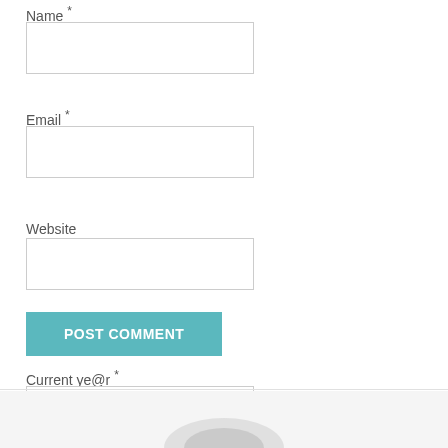Name *
Email *
Website
POST COMMENT
Current ye@r *
7.3.1